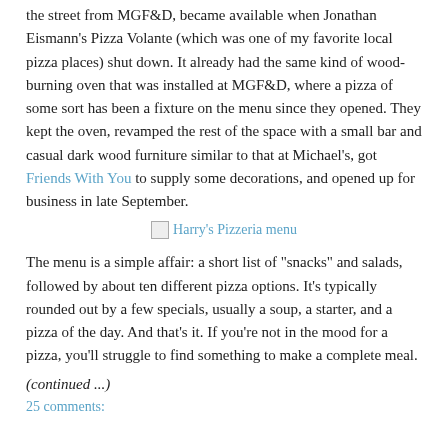the street from MGF&D, became available when Jonathan Eismann's Pizza Volante (which was one of my favorite local pizza places) shut down. It already had the same kind of wood-burning oven that was installed at MGF&D, where a pizza of some sort has been a fixture on the menu since they opened. They kept the oven, revamped the rest of the space with a small bar and casual dark wood furniture similar to that at Michael's, got Friends With You to supply some decorations, and opened up for business in late September.
[Figure (other): Broken image placeholder labeled 'Harry's Pizzeria menu']
The menu is a simple affair: a short list of "snacks" and salads, followed by about ten different pizza options. It's typically rounded out by a few specials, usually a soup, a starter, and a pizza of the day. And that's it. If you're not in the mood for a pizza, you'll struggle to find something to make a complete meal.
(continued ...)
25 comments: